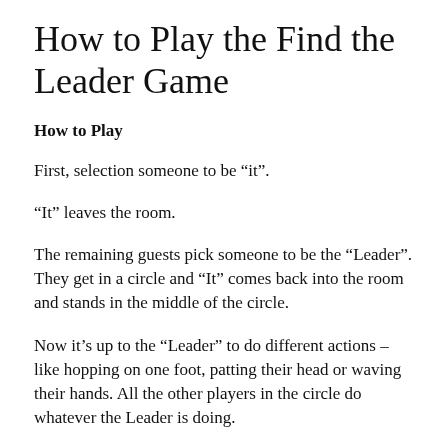How to Play the Find the Leader Game
How to Play
First, selection someone to be “it”.
“It” leaves the room.
The remaining guests pick someone to be the “Leader”. They get in a circle and “It” comes back into the room and stands in the middle of the circle.
Now it’s up to the “Leader” to do different actions – like hopping on one foot, patting their head or waving their hands. All the other players in the circle do whatever the Leader is doing.